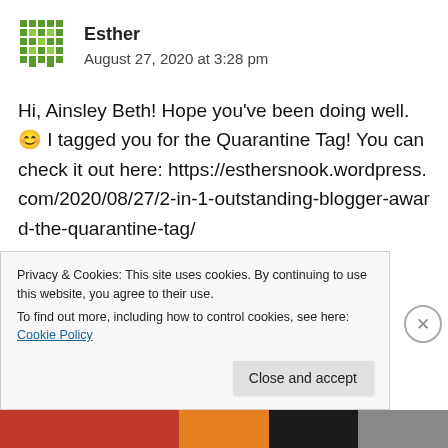Esther
August 27, 2020 at 3:28 pm
Hi, Ainsley Beth! Hope you've been doing well. 😊 I tagged you for the Quarantine Tag! You can check it out here: https://esthersnook.wordpress.com/2020/08/27/2-in-1-outstanding-blogger-award-the-quarantine-tag/
Privacy & Cookies: This site uses cookies. By continuing to use this website, you agree to their use.
To find out more, including how to control cookies, see here: Cookie Policy